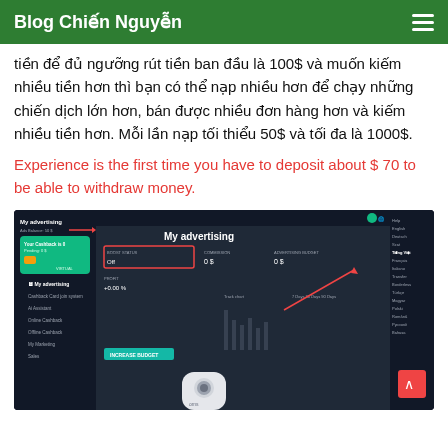Blog Chiến Nguyễn
tiền để đủ ngưỡng rút tiền ban đầu là 100$ và muốn kiếm nhiều tiền hơn thì bạn có thể nạp nhiều hơn để chạy những chiến dịch lớn hơn, bán được nhiều đơn hàng hơn và kiếm nhiều tiền hơn. Mỗi lần nạp tối thiểu 50$ và tối đa là 1000$.
Experience is the first time you have to deposit about $ 70 to be able to withdraw money.
[Figure (screenshot): Screenshot of 'My advertising' dashboard showing boost status off, commission 0$, advertising budget 0$, profit +0.00%, and options to increase budget. Right side shows a language selection menu. Red arrows point to key areas. A small camera device is visible at the bottom. A red scroll-up button is in the lower right.]